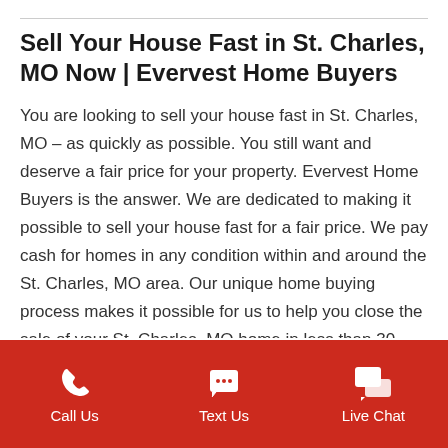Sell Your House Fast in St. Charles, MO Now | Evervest Home Buyers
You are looking to sell your house fast in St. Charles, MO – as quickly as possible. You still want and deserve a fair price for your property. Evervest Home Buyers is the answer. We are dedicated to making it possible to sell your house fast for a fair price. We pay cash for homes in any condition within and around the St. Charles, MO area. Our unique home buying process makes it possible for us to help you close the sale of your St. Charles, MO home in less than 30 days, and often in as little as two weeks.
Call Us | Text Us | Live Chat